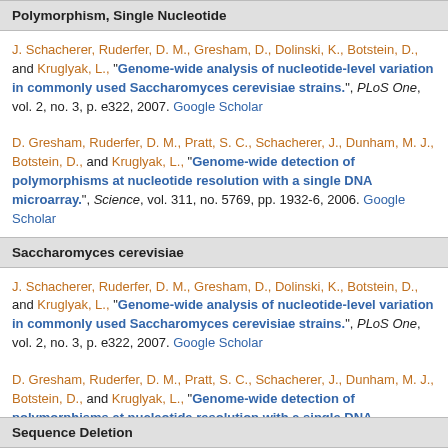Polymorphism, Single Nucleotide
J. Schacherer, Ruderfer, D. M., Gresham, D., Dolinski, K., Botstein, D., and Kruglyak, L., “Genome-wide analysis of nucleotide-level variation in commonly used Saccharomyces cerevisiae strains.”, PLoS One, vol. 2, no. 3, p. e322, 2007. Google Scholar
D. Gresham, Ruderfer, D. M., Pratt, S. C., Schacherer, J., Dunham, M. J., Botstein, D., and Kruglyak, L., “Genome-wide detection of polymorphisms at nucleotide resolution with a single DNA microarray.”, Science, vol. 311, no. 5769, pp. 1932-6, 2006. Google Scholar
Saccharomyces cerevisiae
J. Schacherer, Ruderfer, D. M., Gresham, D., Dolinski, K., Botstein, D., and Kruglyak, L., “Genome-wide analysis of nucleotide-level variation in commonly used Saccharomyces cerevisiae strains.”, PLoS One, vol. 2, no. 3, p. e322, 2007. Google Scholar
D. Gresham, Ruderfer, D. M., Pratt, S. C., Schacherer, J., Dunham, M. J., Botstein, D., and Kruglyak, L., “Genome-wide detection of polymorphisms at nucleotide resolution with a single DNA microarray.”, Science, vol. 311, no. 5769, pp. 1932-6, 2006. Google Scholar
Sequence Deletion